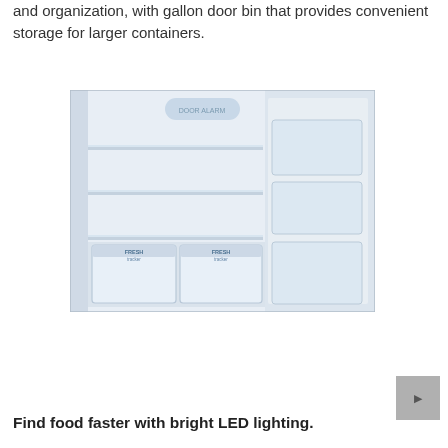and organization, with gallon door bin that provides convenient storage for larger containers.
[Figure (photo): Open refrigerator interior showing glass shelves, two crisper drawers labeled FreshTracker, and door bins on the right side. Interior is white/light blue lit.]
Find food faster with bright LED lighting.